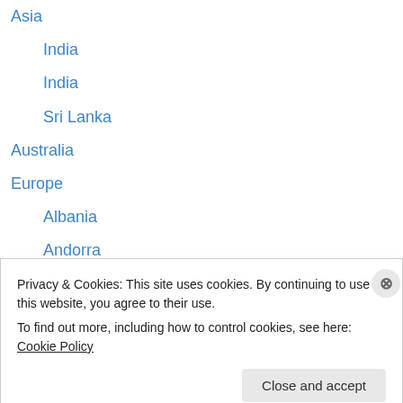Asia
India
India
Sri Lanka
Australia
Europe
Albania
Andorra
Austria
Belgium
Bosnia and Herzegovina
Bulgaria
Czech Republic
Privacy & Cookies: This site uses cookies. By continuing to use this website, you agree to their use.
To find out more, including how to control cookies, see here: Cookie Policy
Close and accept